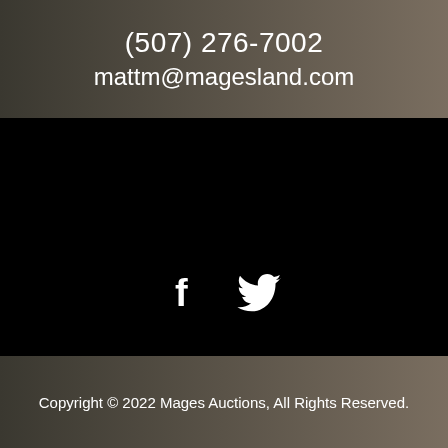(507) 276-7002
mattm@magesland.com
[Figure (illustration): Facebook and Twitter social media icons in white on black background]
Copyright © 2022 Mages Auctions, All Rights Reserved.